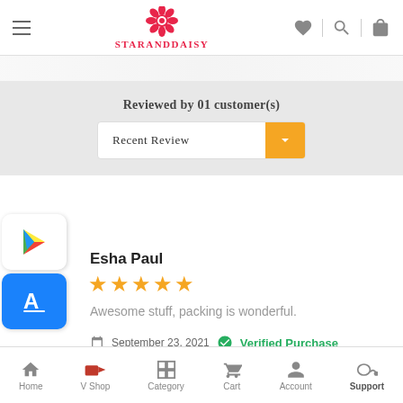StarAndDaisy
Reviewed by 01 customer(s)
Recent Review
Esha Paul
★★★★★
Awesome stuff, packing is wonderful.
September 23, 2021  Verified Purchase
Home  V Shop  Category  Cart  Account  Support